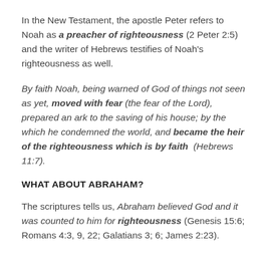In the New Testament, the apostle Peter refers to Noah as a preacher of righteousness (2 Peter 2:5) and the writer of Hebrews testifies of Noah's righteousness as well.
By faith Noah, being warned of God of things not seen as yet, moved with fear (the fear of the Lord), prepared an ark to the saving of his house; by the which he condemned the world, and became the heir of the righteousness which is by faith (Hebrews 11:7).
WHAT ABOUT ABRAHAM?
The scriptures tells us, Abraham believed God and it was counted to him for righteousness (Genesis 15:6; Romans 4:3, 9, 22; Galatians 3; 6; James 2:23).